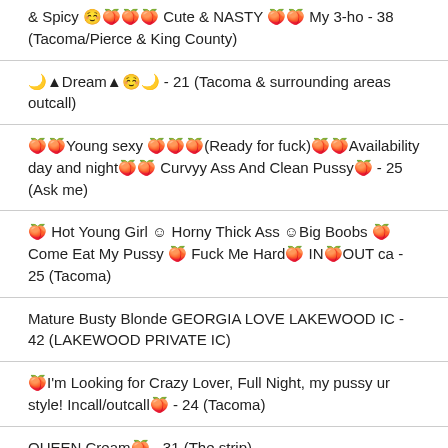& Spicy ☺️🍑🍑🍑 Cute & NASTY 🍑🍑 My 3-ho - 38 (Tacoma/Pierce & King County)
🌙▲Dream▲☺️🌙 - 21 (Tacoma & surrounding areas outcall)
🍑🍑Young sexy 🍑🍑🍑(Ready for fuck)🍑🍑Availability day and night🍑🍑 Curvyy Ass And Clean Pussy🍑 - 25 (Ask me)
🍑 Hot Young Girl ☺ Horny Thick Ass ☺Big Boobs 🍑Come Eat My Pussy 🍑 Fuck Me Hard🍑 IN🍑OUT ca - 25 (Tacoma)
Mature Busty Blonde GEORGIA LOVE LAKEWOOD IC - 42 (LAKEWOOD PRIVATE IC)
🍑I'm Looking for Crazy Lover, Full Night, my pussy ur style! Incall/outcall🍑 - 24 (Tacoma)
QUEEN Cream🍑 - 31 (The strip)
vanilla, bdsm, car fun, friend....tell me what you need - 27